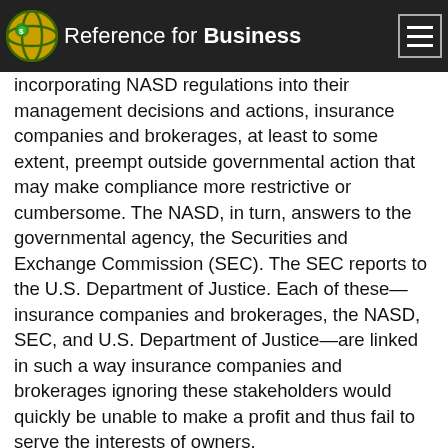Reference for Business
regulatory organization that monitors and disciplines members such as insurance companies and brokerages. By incorporating NASD regulations into their management decisions and actions, insurance companies and brokerages, at least to some extent, preempt outside governmental action that may make compliance more restrictive or cumbersome. The NASD, in turn, answers to the governmental agency, the Securities and Exchange Commission (SEC). The SEC reports to the U.S. Department of Justice. Each of these—insurance companies and brokerages, the NASD, SEC, and U.S. Department of Justice—are linked in such a way insurance companies and brokerages ignoring these stakeholders would quickly be unable to make a profit and thus fail to serve the interests of owners.
EMERGENCE OF THE STAKEHOLDER PERSPECTIVE
The conventional thinking dominating the early management literature with the rise of management as a "profession"